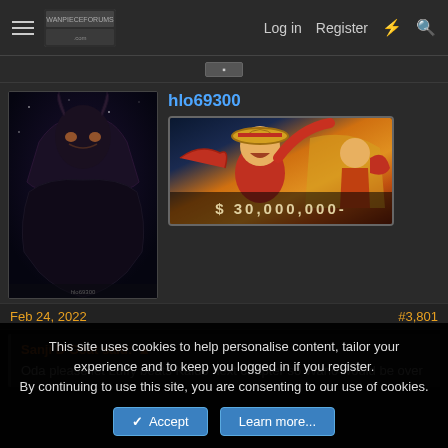Log in  Register
hlo69300
[Figure (screenshot): User avatar showing anime character Kaido from One Piece in dark dramatic artwork]
[Figure (screenshot): User badge showing Monkey D. Luffy from One Piece game artwork with text '$ 30,000,000-']
Feb 24, 2022	#3,801
Sanji D Goat said: ↑
Oda please let Luffy beats Kaido next chapter so Wano would be over
This site uses cookies to help personalise content, tailor your experience and to keep you logged in if you register.
By continuing to use this site, you are consenting to our use of cookies.
Accept  Learn more...